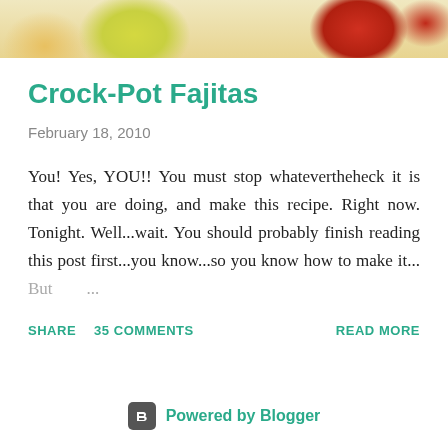[Figure (photo): Partial photo of vegetables including peppers and tomatoes on a wooden surface]
Crock-Pot Fajitas
February 18, 2010
You! Yes, YOU!! You must stop whatevertheheck it is that you are doing, and make this recipe. Right now. Tonight. Well...wait. You should probably finish reading this post first...you know...so you know how to make it... But ...
SHARE   35 COMMENTS   READ MORE
Powered by Blogger